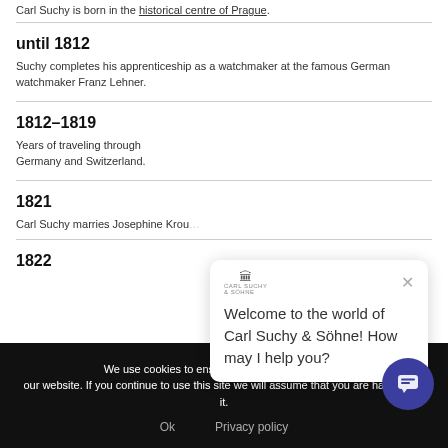Carl Suchy is born in the historical centre of Prague.
until 1812
Suchy completes his apprenticeship as a watchmaker at the famous German watchmaker Franz Lehner.
1812–1819
Years of traveling through Germany and Switzerland.
1821
Carl Suchy marries Josephine Krou…
1822
Welcome to the world of Carl Suchy & Söhne! How may I help you?
We use cookies to ensure the best experience on our website. If you continue to use this site we will assume that you are happy with it.